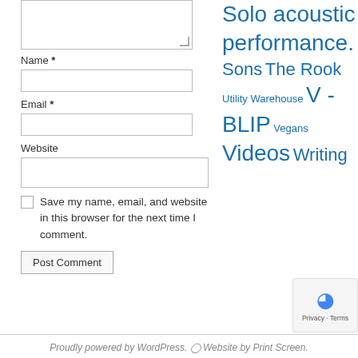[Figure (screenshot): Partial comment textarea (cropped at top), showing bottom portion of a web form input box with resize handle]
Name *
[Figure (screenshot): Name text input field]
Email *
[Figure (screenshot): Email text input field]
Website
[Figure (screenshot): Website text input field]
Save my name, email, and website in this browser for the next time I comment.
[Figure (screenshot): Post Comment button]
Solo acoustic performance.
Sons
The Rook
Utility Warehouse
V - BLIP
Vegans
Videos
Writing
Proudly powered by WordPress. Website by Print Screen.